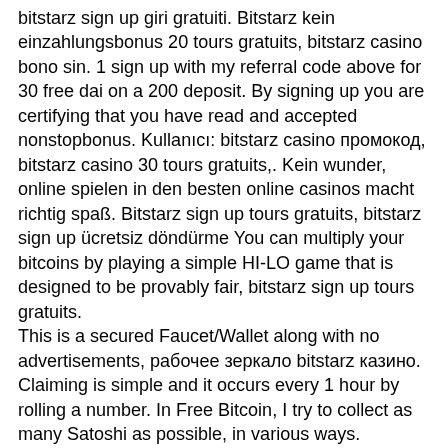bitstarz sign up giri gratuiti. Bitstarz kein einzahlungsbonus 20 tours gratuits, bitstarz casino bono sin. 1 sign up with my referral code above for 30 free dai on a 200 deposit. By signing up you are certifying that you have read and accepted nonstopbonus. Kullanıcı: bitstarz casino промокод, bitstarz casino 30 tours gratuits,. Kein wunder, online spielen in den besten online casinos macht richtig spaß. Bitstarz sign up tours gratuits, bitstarz sign up ücretsiz döndürme You can multiply your bitcoins by playing a simple HI-LO game that is designed to be provably fair, bitstarz sign up tours gratuits. This is a secured Faucet/Wallet along with no advertisements, рабочее зеркало bitstarz казино. Claiming is simple and it occurs every 1 hour by rolling a number. In Free Bitcoin, I try to collect as many Satoshi as possible, in various ways. 2022 test47292716 0 คอมเมนต์bitstarz sign up tours gratuits 20 - 200 free